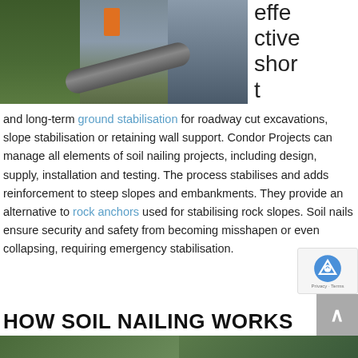[Figure (photo): Construction site photo showing soil nailing work, workers in orange high-visibility gear, timber shoring, and large pipe being installed in an excavation]
effective short
and long-term ground stabilisation for roadway cut excavations, slope stabilisation or retaining wall support. Condor Projects can manage all elements of soil nailing projects, including design, supply, installation and testing. The process stabilises and adds reinforcement to steep slopes and embankments. They provide an alternative to rock anchors used for stabilising rock slopes. Soil nails ensure security and safety from becoming misshapen or even collapsing, requiring emergency stabilisation.
HOW SOIL NAILING WORKS
[Figure (photo): Bottom strip showing partial view of soil nailing construction site photos]